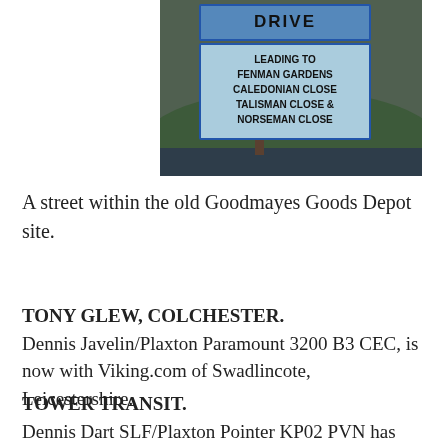[Figure (photo): Photograph of a street sign on a wooden post. Top sign reads 'DRIVE' in blue. Below is a blue sign reading 'LEADING TO FENMAN GARDENS CALEDONIAN CLOSE TALISMAN CLOSE & NORSEMAN CLOSE'. Background shows grass and a road.]
A street within the old Goodmayes Goods Depot site.
TONY GLEW, COLCHESTER. Dennis Javelin/Plaxton Paramount 3200 B3 CEC, is now with Viking.com of Swadlincote, Leicestershire.
TOWER TRANSIT. Dennis Dart SLF/Plaxton Pointer KP02 PVN has passed to Ensign.